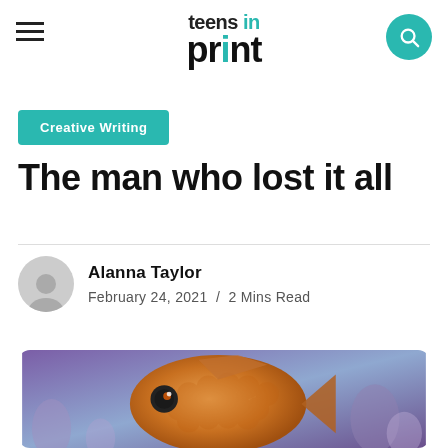teens in print
Creative Writing
The man who lost it all
Alanna Taylor / February 24, 2021 / 2 Mins Read
[Figure (photo): Close-up photo of an orange fish with detailed scales and large eye, set against a blurry purple/blue coral reef background.]